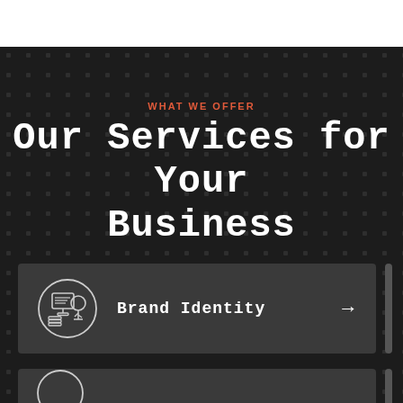WHAT WE OFFER
Our Services for Your Business
Brand Identity →
[Figure (illustration): Circular line-art icon showing a computer monitor with a plant/tree, representing brand identity service]